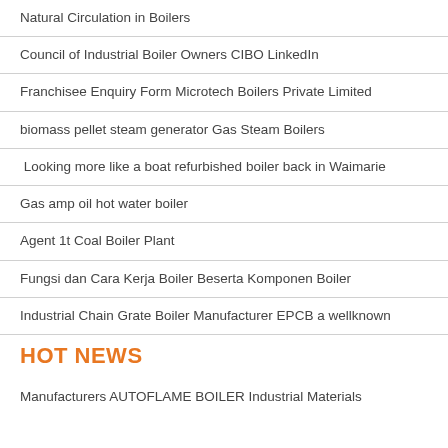Natural Circulation in Boilers
Council of Industrial Boiler Owners CIBO LinkedIn
Franchisee Enquiry Form Microtech Boilers Private Limited
biomass pellet steam generator Gas Steam Boilers
Looking more like a boat refurbished boiler back in Waimarie
Gas amp oil hot water boiler
Agent 1t Coal Boiler Plant
Fungsi dan Cara Kerja Boiler Beserta Komponen Boiler
Industrial Chain Grate Boiler Manufacturer EPCB a wellknown
HOT NEWS
Manufacturers AUTOFLAME BOILER Industrial Materials